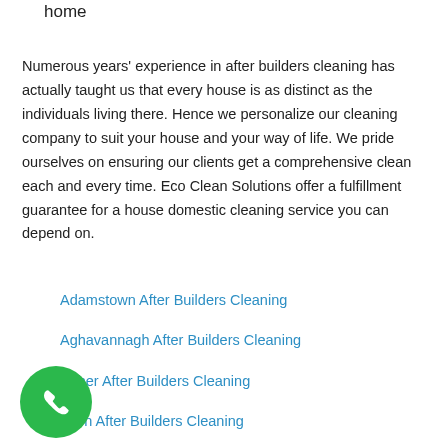home
Numerous years' experience in after builders cleaning has actually taught us that every house is as distinct as the individuals living there. Hence we personalize our cleaning company to suit your house and your way of life. We pride ourselves on ensuring our clients get a comprehensive clean each and every time. Eco Clean Solutions offer a fulfillment guarantee for a house domestic cleaning service you can depend on.
Adamstown After Builders Cleaning
Aghavannagh After Builders Cleaning
Agher After Builders Cleaning
Allen After Builders Cleaning
enwood After Builders Cleaning